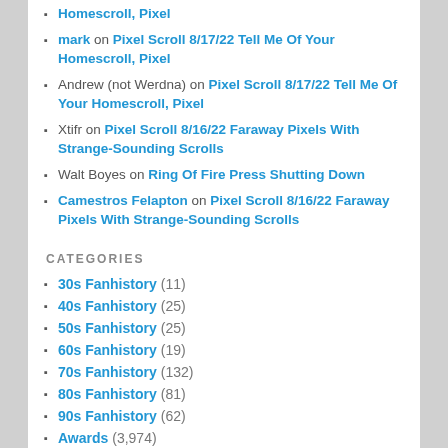Homescroll, Pixel
mark on Pixel Scroll 8/17/22 Tell Me Of Your Homescroll, Pixel
Andrew (not Werdna) on Pixel Scroll 8/17/22 Tell Me Of Your Homescroll, Pixel
Xtifr on Pixel Scroll 8/16/22 Faraway Pixels With Strange-Sounding Scrolls
Walt Boyes on Ring Of Fire Press Shutting Down
Camestros Felapton on Pixel Scroll 8/16/22 Faraway Pixels With Strange-Sounding Scrolls
CATEGORIES
30s Fanhistory (11)
40s Fanhistory (25)
50s Fanhistory (25)
60s Fanhistory (19)
70s Fanhistory (132)
80s Fanhistory (81)
90s Fanhistory (62)
Awards (3,974)
Book Reviews (107)